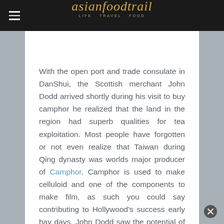asianfoodtrail LIFE TRAVEL FOOD
With the open port and trade consulate in DanShui, the Scottish merchant John Dodd arrived shortly during his visit to buy camphor he realized that the land in the region had superb qualities for tea exploitation. Most people have forgotten or not even realize that Taiwan during Qing dynasty was worlds major producer of Camphor. Camphor is used to make celluloid and one of the components to make film, as such you could say contributing to Hollywood's success early hay days. John Dodd saw the potential of Taiwan Tea and provided loans to farmers to increase tea production. In 1867 he started tea company in WanHua, Taipei City together with Fujian-born Lee importing seedlings from Xiamen and bringing in skilled workers from